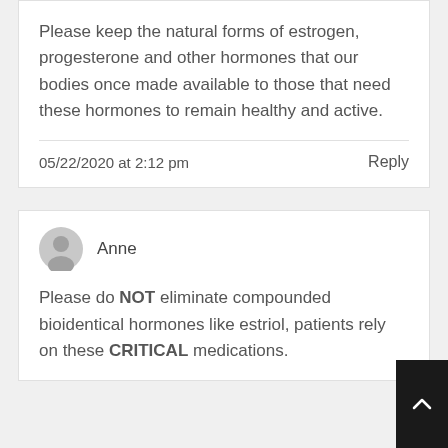Please keep the natural forms of estrogen, progesterone and other hormones that our bodies once made available to those that need these hormones to remain healthy and active.
05/22/2020 at 2:12 pm
Reply
Anne
Please do NOT eliminate compounded bioidentical hormones like estriol, patients rely on these CRITICAL medications.